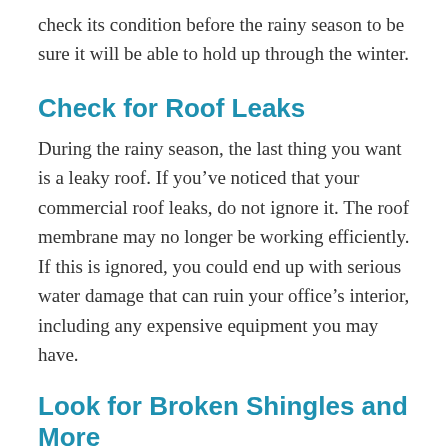check its condition before the rainy season to be sure it will be able to hold up through the winter.
Check for Roof Leaks
During the rainy season, the last thing you want is a leaky roof. If you’ve noticed that your commercial roof leaks, do not ignore it. The roof membrane may no longer be working efficiently. If this is ignored, you could end up with serious water damage that can ruin your office’s interior, including any expensive equipment you may have.
Look for Broken Shingles and More
Other signs of damage to pay attention to are splitting, cracked, broken, or buckling shingles.